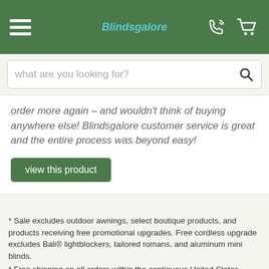Blindsgalore
what are you looking for?
order more again – and wouldn't think of buying anywhere else! Blindsgalore customer service is great and the entire process was beyond easy!
view this product
* Sale excludes outdoor awnings, select boutique products, and products receiving free promotional upgrades. Free cordless upgrade excludes Bali® lightblockers, tailored romans, and aluminum mini blinds.
* Free shipping on all orders within the contiguous United States. Excludes AK and HI.
* Starting price is for 24x36 window treatments.